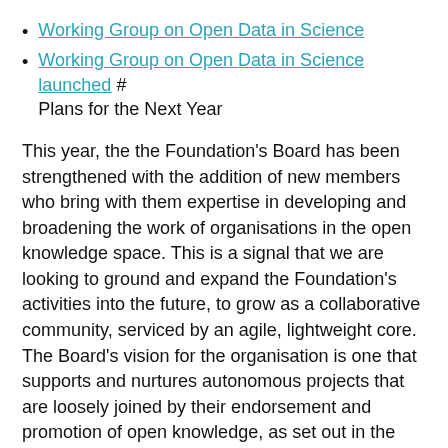Working Group on Open Data in Science
Working Group on Open Data in Science launched # Plans for the Next Year
This year, the the Foundation's Board has been strengthened with the addition of new members who bring with them expertise in developing and broadening the work of organisations in the open knowledge space. This is a signal that we are looking to ground and expand the Foundation's activities into the future, to grow as a collaborative community, serviced by an agile, lightweight core. The Board's vision for the organisation is one that supports and nurtures autonomous projects that are loosely joined by their endorsement and promotion of open knowledge, as set out in the open knowledge definition. We look forward to presenting the Foundation community with our plans to achieve this vision in the coming year.
The Foundation will always be a not-for-profit organization, built on the work of passionate volunteers